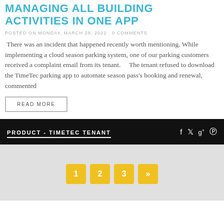MANAGING ALL BUILDING ACTIVITIES IN ONE APP
POSTED ON MONDAY, MARCH 28, 2022   0 COMMENTS
There was an incident that happened recently worth mentioning. While implementing a cloud season parking system, one of our parking customers received a complaint email from its tenant.     The tenant refused to download the TimeTec parking app to automate season pass's booking and renewal, commented
READ MORE
PRODUCT - TIMETEC TENANT
1
2
3
»